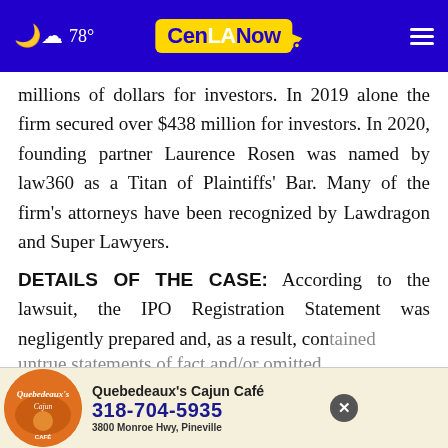CenLANow — 78°
millions of dollars for investors. In 2019 alone the firm secured over $438 million for investors. In 2020, founding partner Laurence Rosen was named by law360 as a Titan of Plaintiffs' Bar. Many of the firm's attorneys have been recognized by Lawdragon and Super Lawyers.
DETAILS OF THE CASE:
According to the lawsuit, the IPO Registration Statement was negligently prepared and, as a result, contained untrue statements of fact and/or omitted to state facts necessary to make the
[Figure (infographic): Advertisement overlay for Quebedeaux's Cajun Café with phone number 318-704-5935 and address 3800 Monroe Hwy, Pineville. Has a close (X) button.]